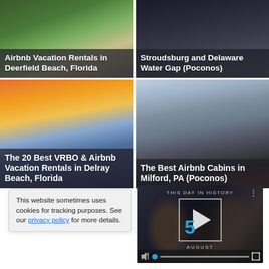[Figure (photo): Airbnb Vacation Rentals in Deerfield Beach, Florida - thumbnail with road and greenery]
Airbnb Vacation Rentals in Deerfield Beach, Florida
[Figure (photo): Stroudsburg and Delaware Water Gap (Poconos) - dark winter scene thumbnail]
Stroudsburg and Delaware Water Gap (Poconos)
[Figure (photo): The 20 Best VRBO & Airbnb Vacation Rentals in Delray Beach, Florida - sunset beach thumbnail]
The 20 Best VRBO & Airbnb Vacation Rentals in Delray Beach, Florida
[Figure (photo): The Best Airbnb Cabins in Milford, PA (Poconos) - snowy forest thumbnail]
The Best Airbnb Cabins in Milford, PA (Poconos)
This website sometimes uses cookies for tracking purposes. See our privacy policy for more details.
[Figure (screenshot): Video widget: THIS DAY IN HISTORY - 5 AUGUST, with play button, mute, progress bar, fullscreen controls]